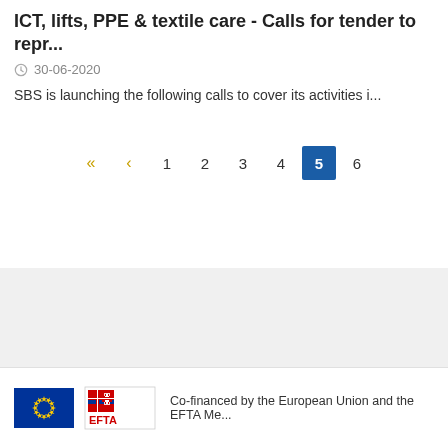ICT, lifts, PPE & textile care - Calls for tender to repr...
30-06-2020
SBS is launching the following calls to cover its activities i...
« ‹ 1 2 3 4 5 6
[Figure (logo): EU flag logo and EFTA logo]
Co-financed by the European Union and the EFTA Me...